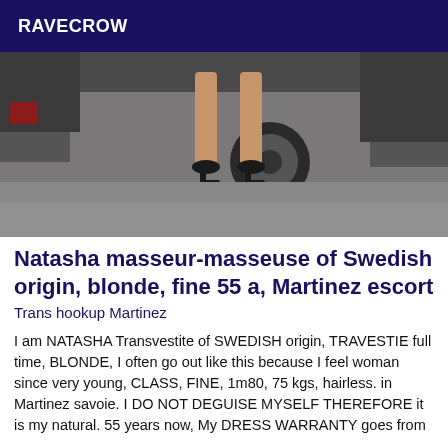RAVECROW
[Figure (photo): Photo showing legs of a person wearing high heels standing near a car on pavement]
Natasha masseur-masseuse of Swedish origin, blonde, fine 55 a, Martinez escort
Trans hookup Martinez
I am NATASHA Transvestite of SWEDISH origin, TRAVESTIE full time, BLONDE, I often go out like this because I feel woman since very young, CLASS, FINE, 1m80, 75 kgs, hairless. in Martinez savoie. I DO NOT DEGUISE MYSELF THEREFORE it is my natural. 55 years now, My DRESS WARRANTY goes from